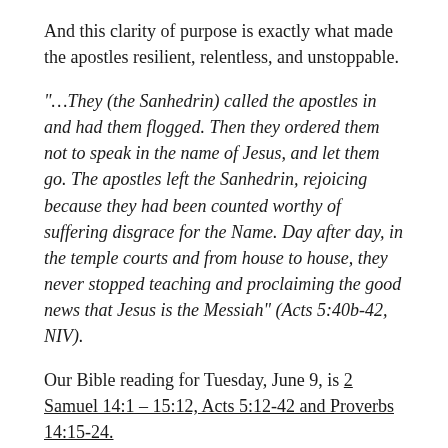And this clarity of purpose is exactly what made the apostles resilient, relentless, and unstoppable.
“…They (the Sanhedrin) called the apostles in and had them flogged. Then they ordered them not to speak in the name of Jesus, and let them go. The apostles left the Sanhedrin, rejoicing because they had been counted worthy of suffering disgrace for the Name. Day after day, in the temple courts and from house to house, they never stopped teaching and proclaiming the good news that Jesus is the Messiah” (Acts 5:40b-42, NIV).
Our Bible reading for Tuesday, June 9, is 2 Samuel 14:1 – 15:12, Acts 5:12-42 and Proverbs 14:15-24.
Lord God, Heavenly Father, help me to be as crystal clear about my purpose in this life as the apostles